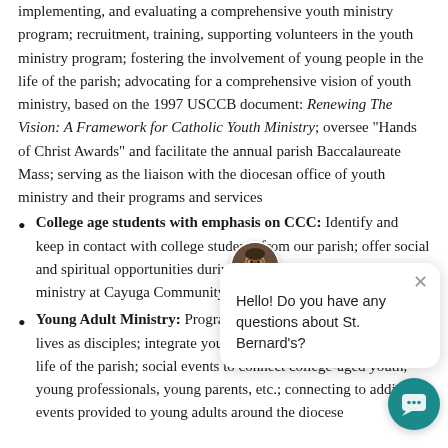implementing, and evaluating a comprehensive youth ministry program; recruitment, training, supporting volunteers in the youth ministry program; fostering the involvement of young people in the life of the parish; advocating for a comprehensive vision of youth ministry, based on the 1997 USCCB document: Renewing The Vision: A Framework for Catholic Youth Ministry; oversee "Hands of Christ Awards" and facilitate the annual parish Baccalaureate Mass; serving as the liaison with the diocesan office of youth ministry and their programs and services
College age students with emphasis on CCC: Identify and keep in contact with college students from our parish; offer social and spiritual opportunities during the year; support the Newman ministry at Cayuga Community College
Young Adult Ministry: Programs and events to further their lives as disciples; integrate young adults fully into the liturgical life of the parish; social events to connect college-aged youth, young professionals, young parents, etc.; connecting to additional events provided to young adults around the diocese
[Figure (screenshot): Chat widget overlay showing a circular avatar photo of a bearded man, a speech bubble reading 'Hello! Do you have any questions about St. Bernard's?' with a close (x) button, and a teal circular chat button at bottom right.]